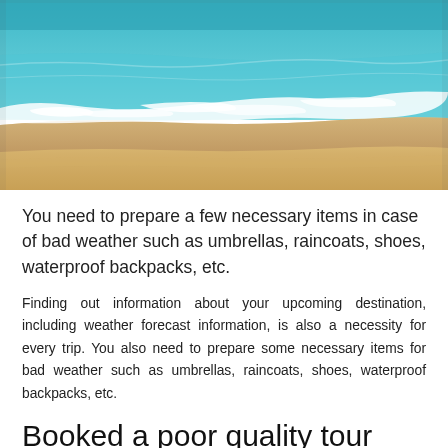[Figure (photo): Beach photo showing turquoise ocean water with white foam waves washing onto sandy shore]
You need to prepare a few necessary items in case of bad weather such as umbrellas, raincoats, shoes, waterproof backpacks, etc.
Finding out information about your upcoming destination, including weather forecast information, is also a necessity for every trip. You also need to prepare some necessary items for bad weather such as umbrellas, raincoats, shoes, waterproof backpacks, etc.
Booked a poor quality tour